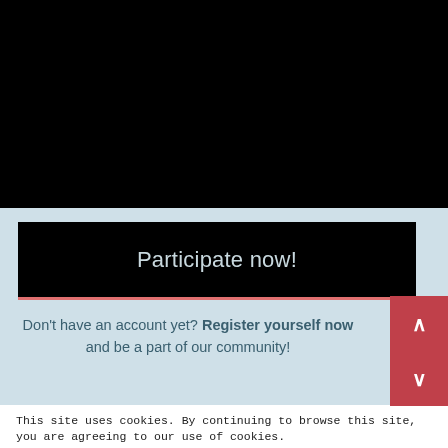[Figure (screenshot): Black background area at the top of the page, representing a video or image area]
Participate now!
Don't have an account yet? Register yourself now and be a part of our community!
This site uses cookies. By continuing to browse this site, you are agreeing to our use of cookies.
More Details   Close